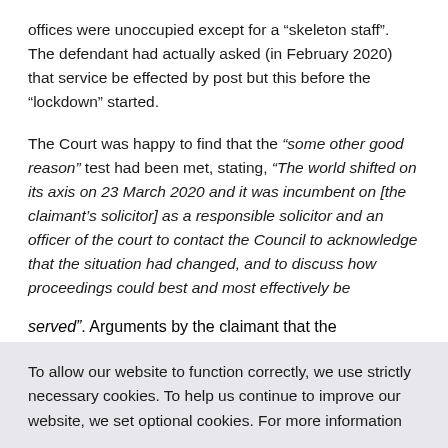offices were unoccupied except for a “skeleton staff”. The defendant had actually asked (in February 2020) that service be effected by post but this before the “lockdown” started.
The Court was happy to find that the “some other good reason” test had been met, stating, “The world shifted on its axis on 23 March 2020 and it was incumbent on [the claimant’s solicitor] as a responsible solicitor and an officer of the court to contact the Council to acknowledge that the situation had changed, and to discuss how proceedings could best and most effectively be served”. Arguments by the claimant that the
To allow our website to function correctly, we use strictly necessary cookies. To help us continue to improve our website, we set optional cookies. For more information